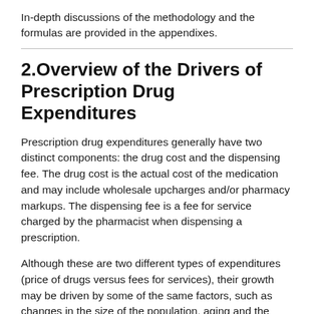In-depth discussions of the methodology and the formulas are provided in the appendixes.
2.Overview of the Drivers of Prescription Drug Expenditures
Prescription drug expenditures generally have two distinct components: the drug cost and the dispensing fee. The drug cost is the actual cost of the medication and may include wholesale upcharges and/or pharmacy markups. The dispensing fee is a fee for service charged by the pharmacist when dispensing a prescription.
Although these are two different types of expenditures (price of drugs versus fees for services), their growth may be driven by some of the same factors, such as changes in the size of the population, aging and the volume of prescriptions.
Generally, cost driver analyses focus on the actual drug costs, which usually represent the largest component of